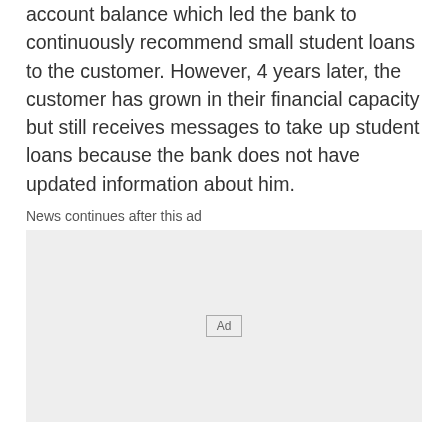account balance which led the bank to continuously recommend small student loans to the customer. However, 4 years later, the customer has grown in their financial capacity but still receives messages to take up student loans because the bank does not have updated information about him.
News continues after this ad
[Figure (other): Advertisement placeholder box with 'Ad' label in center]